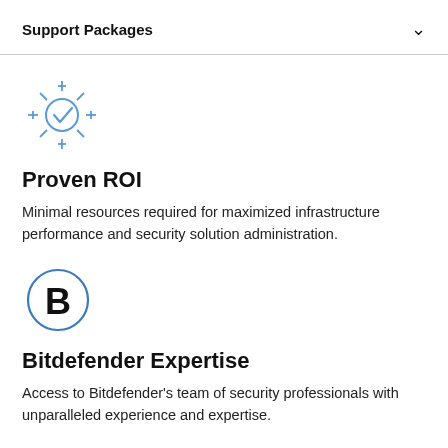Support Packages
[Figure (illustration): Blue sun/starburst icon with a checkmark in center circle and radiating lines with plus signs]
Proven ROI
Minimal resources required for maximized infrastructure performance and security solution administration.
[Figure (logo): Bold letter B inside a blue circle outline — Bitdefender logo]
Bitdefender Expertise
Access to Bitdefender's team of security professionals with unparalleled experience and expertise.